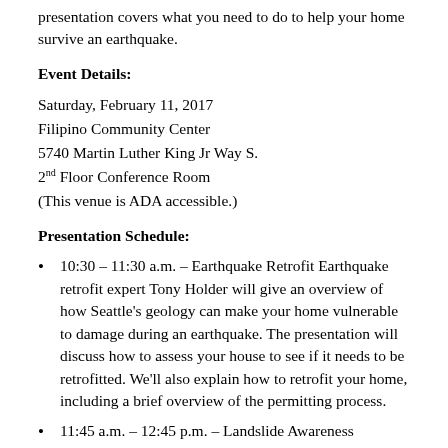presentation covers what you need to do to help your home survive an earthquake.
Event Details:
Saturday, February 11, 2017
Filipino Community Center
5740 Martin Luther King Jr Way S.
2nd Floor Conference Room
(This venue is ADA accessible.)
Presentation Schedule:
10:30 – 11:30 a.m. – Earthquake Retrofit Earthquake retrofit expert Tony Holder will give an overview of how Seattle's geology can make your home vulnerable to damage during an earthquake. The presentation will discuss how to assess your house to see if it needs to be retrofitted. We'll also explain how to retrofit your home, including a brief overview of the permitting process.
11:45 a.m. – 12:45 p.m. – Landslide Awareness